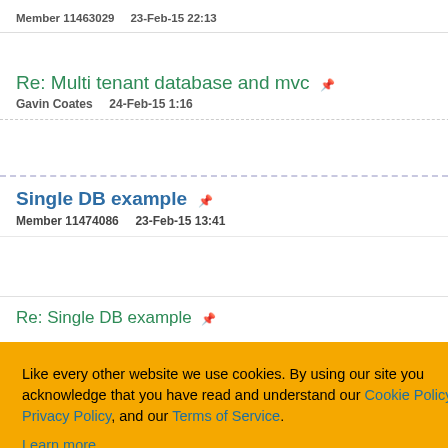Member 11463029    23-Feb-15 22:13
Re: Multi tenant database and mvc
Gavin Coates    24-Feb-15 1:16
Single DB example
Member 11474086    23-Feb-15 13:41
Re: Single DB example
1  2  Next ▷
Article Copyright 2014 by Gavin Coates
Everything else Copyright © CodeProject, 1999-2022
Web04 2.8.2022.07.15.1
Like every other website we use cookies. By using our site you acknowledge that you have read and understand our Cookie Policy, Privacy Policy, and our Terms of Service.
Learn more
Ask me later    Decline    Allow cookies